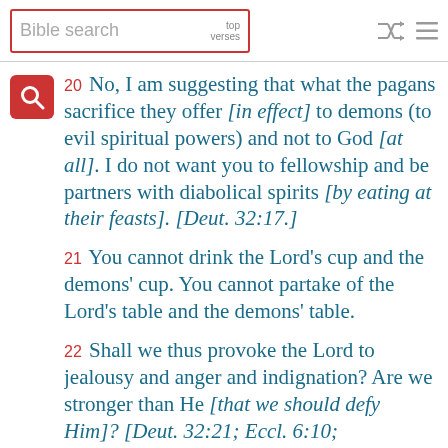Bible search | top verses
20 No, I am suggesting that what the pagans sacrifice they offer [in effect] to demons (to evil spiritual powers) and not to God [at all]. I do not want you to fellowship and be partners with diabolical spirits [by eating at their feasts]. [Deut. 32:17.]
21 You cannot drink the Lord's cup and the demons' cup. You cannot partake of the Lord's table and the demons' table.
22 Shall we thus provoke the Lord to jealousy and anger and indignation? Are we stronger than He [that we should defy Him]? [Deut. 32:21; Eccl. 6:10;